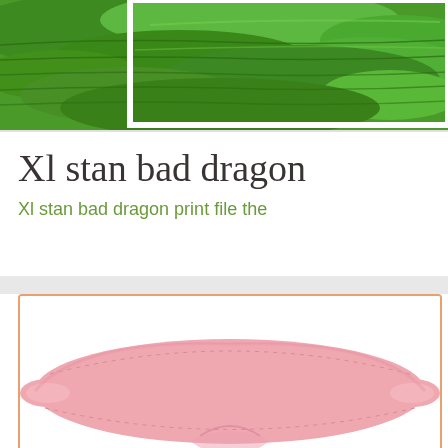[Figure (photo): Aerial view of green terraced rice fields or farmland landscape]
Xl stan bad dragon
Xl stan bad dragon print file the
[Figure (photo): Pink sleep eye mask / blindfold product photo on white background with orange border frame]